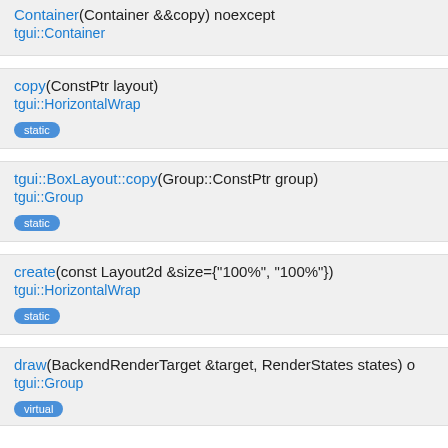Container(Container &&copy) noexcept
tgui::Container
copy(ConstPtr layout)
tgui::HorizontalWrap
static
tgui::BoxLayout::copy(Group::ConstPtr group)
tgui::Group
static
create(const Layout2d &size={"100%", "100%"})
tgui::HorizontalWrap
static
draw(BackendRenderTarget &target, RenderStates states) o
tgui::Group
virtual
finishAllAnimations()